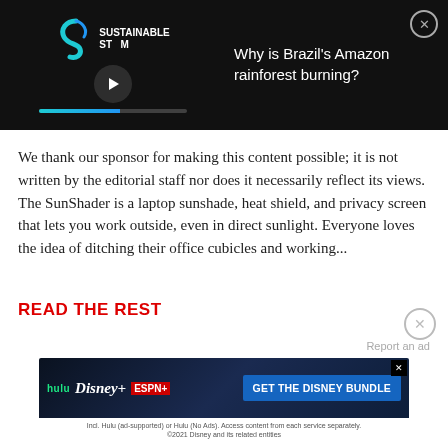[Figure (screenshot): Video player banner with Sustainable Storm logo, play button, progress bar on dark background. Right side shows title 'Why is Brazil's Amazon rainforest burning?' with a close (X) button.]
We thank our sponsor for making this content possible; it is not written by the editorial staff nor does it necessarily reflect its views. The SunShader is a laptop sunshade, heat shield, and privacy screen that lets you work outside, even in direct sunlight. Everyone loves the idea of ditching their office cubicles and working...
READ THE REST
[Figure (screenshot): Disney Bundle advertisement banner showing Hulu, Disney+, ESPN+ logos and 'GET THE DISNEY BUNDLE' call-to-action button with fine print about Hulu ad-supported plans.]